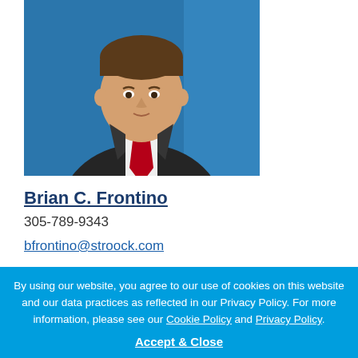[Figure (photo): Professional headshot of Brian C. Frontino, a man in a dark suit with a red tie and white dress shirt, against a blue background]
Brian C. Frontino
305-789-9343
bfrontino@stroock.com
By using our website, you agree to our use of cookies on this website and our data practices as reflected in our Privacy Policy. For more information, please see our Cookie Policy and Privacy Policy.
Accept & Close